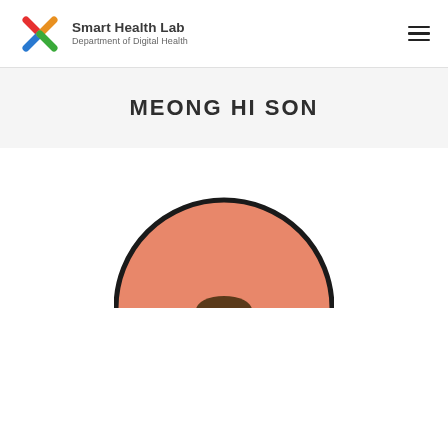Smart Health Lab — Department of Digital Health
MEONG HI SON
[Figure (illustration): Circular profile illustration showing the upper portion of a person with an orange/salmon colored circular background, with dark hair visible at the bottom center. The circle is cropped at the bottom of the frame.]